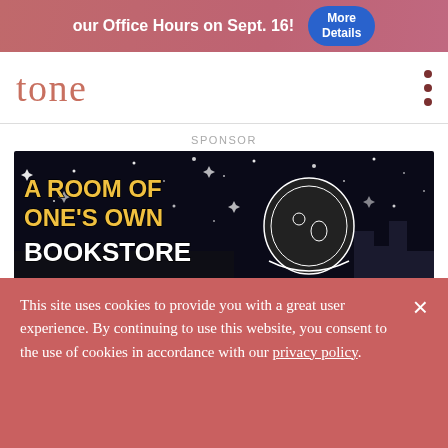our Office Hours on Sept. 16! More Details
[Figure (logo): tone magazine logo in salmon/terracotta color with menu dots icon]
SPONSOR
[Figure (illustration): A Room of One's Own Bookstore advertisement banner with illustrated astronaut in black and white comic style against night sky with stars, yellow and white bold text]
A savanna winter: Where the future begins in the past
BY SAM HARRINGTON • A YEAR ON THE OAK SAVANNA • MARCH 16, 2022
This site uses cookies to provide you with a great user experience. By continuing to use this website, you consent to the use of cookies in accordance with our privacy policy.